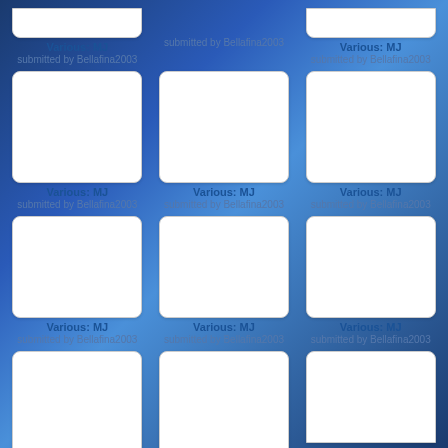[Figure (screenshot): Grid of thumbnail images with titles 'Various: MJ' submitted by Bellafina2003, arranged in a 3-column layout on a blue gradient background]
Various: MJ
submitted by Bellafina2003
submitted by Bellafina2003
Various: MJ
submitted by Bellafina2003
Various: MJ
submitted by Bellafina2003
Various: MJ
submitted by Bellafina2003
Various: MJ
submitted by Bellafina2003
Various: MJ
submitted by Bellafina2003
Various: MJ
submitted by Bellafina2003
Various: MJ
submitted by Bellafina2003
Various: MJ
submitted by Bellafina2003